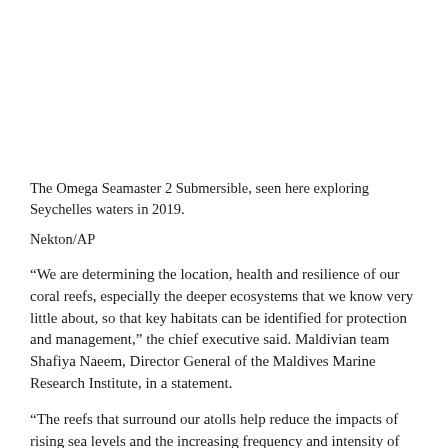The Omega Seamaster 2 Submersible, seen here exploring Seychelles waters in 2019.
Nekton/AP
“We are determining the location, health and resilience of our coral reefs, especially the deeper ecosystems that we know very little about, so that key habitats can be identified for protection and management,” the chief executive said. Maldivian team Shafiya Naeem, Director General of the Maldives Marine Research Institute, in a statement.
“The reefs that surround our atolls help reduce the impacts of rising sea levels and the increasing frequency and intensity of storms, and form the basis of our economies, livelihoods and our subsistence.”